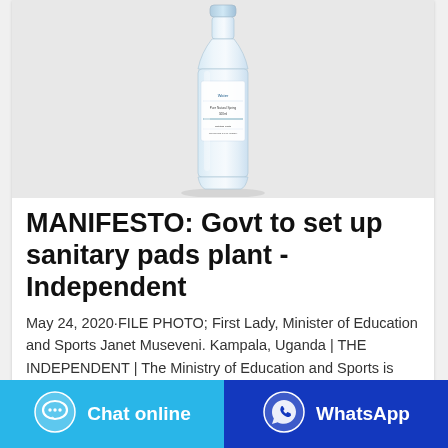[Figure (photo): A clear plastic water bottle with a label, photographed on a white/light grey background.]
MANIFESTO: Govt to set up sanitary pads plant - Independent
May 24, 2020·FILE PHOTO; First Lady, Minister of Education and Sports Janet Museveni. Kampala, Uganda | THE INDEPENDENT | The Ministry of Education and Sports is planning to set up a factory to manufacture sanitary pads that will be distributed at no cost to all girls in school across the country. This